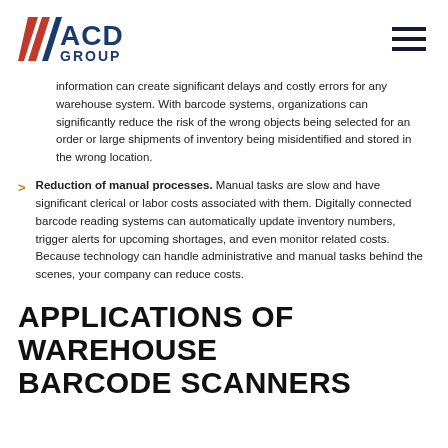ACD GROUP
information can create significant delays and costly errors for any warehouse system. With barcode systems, organizations can significantly reduce the risk of the wrong objects being selected for an order or large shipments of inventory being misidentified and stored in the wrong location.
Reduction of manual processes. Manual tasks are slow and have significant clerical or labor costs associated with them. Digitally connected barcode reading systems can automatically update inventory numbers, trigger alerts for upcoming shortages, and even monitor related costs. Because technology can handle administrative and manual tasks behind the scenes, your company can reduce costs.
APPLICATIONS OF WAREHOUSE BARCODE SCANNERS